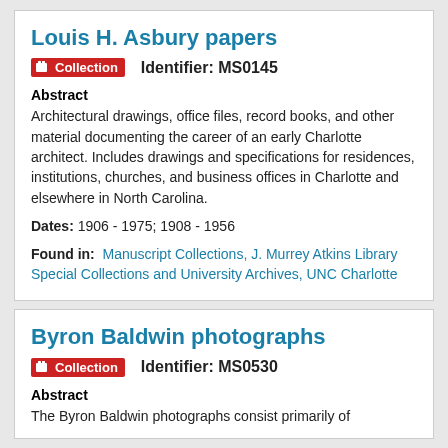Louis H. Asbury papers
Collection   Identifier: MS0145
Abstract
Architectural drawings, office files, record books, and other material documenting the career of an early Charlotte architect. Includes drawings and specifications for residences, institutions, churches, and business offices in Charlotte and elsewhere in North Carolina.
Dates: 1906 - 1975; 1908 - 1956
Found in:   Manuscript Collections, J. Murrey Atkins Library Special Collections and University Archives, UNC Charlotte
Byron Baldwin photographs
Collection   Identifier: MS0530
Abstract
The Byron Baldwin photographs consist primarily of